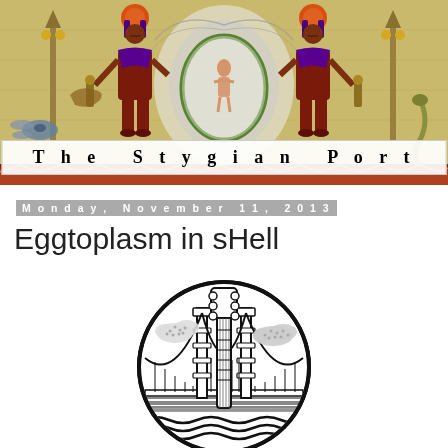[Figure (illustration): Banner header with Egyptian-themed artwork: two mirrored Egyptian deity figures in red and purple with orange sun disks, flanking a central oval medallion with a figure inside a green wreath against a swirling gray background, all on a tan papyrus-colored background with decorative elements.]
The Stygian Port
Monday, November 11, 2013
Eggtoplasm in sHell
[Figure (illustration): Black and white circular illustration showing a suspension bridge (resembling the Golden Gate Bridge) with a guitar headstock/neck rising from the center, clouds on either side, and stylized waves at the bottom, all enclosed in a bold circle outline.]